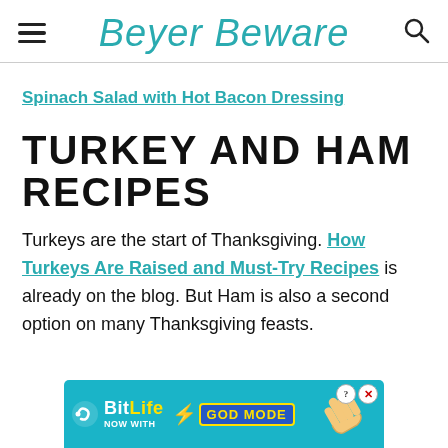Beyer Beware
Spinach Salad with Hot Bacon Dressing
TURKEY AND HAM RECIPES
Turkeys are the start of Thanksgiving. How Turkeys Are Raised and Must-Try Recipes is already on the blog. But Ham is also a second option on many Thanksgiving feasts.
[Figure (screenshot): BitLife advertisement banner: 'BitLife NOW WITH GOD MODE' with a hand pointing emoji on a teal background]